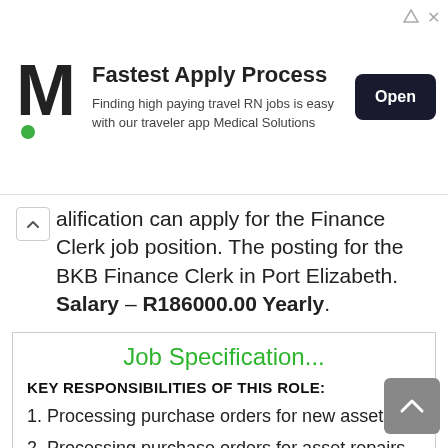[Figure (infographic): Advertisement banner for Medical Solutions app. Shows 'M' logo, headline 'Fastest Apply Process', subtitle 'Finding high paying travel RN jobs is easy with our traveler app Medical Solutions', and an 'Open' button.]
alification can apply for the Finance Clerk job position. The posting for the BKB Finance Clerk in Port Elizabeth. Salary – R186000.00 Yearly.
Job Specification...
KEY RESPONSIBILITIES OF THIS ROLE:
Processing purchase orders for new assets
Processing purchase orders for asset repairs
Physical Asset Verification